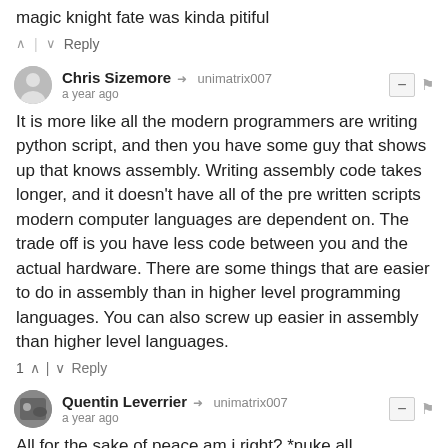magic knight fate was kinda pitiful
^ | v Reply
Chris Sizemore → unimatrix007
a year ago
It is more like all the modern programmers are writing python script, and then you have some guy that shows up that knows assembly. Writing assembly code takes longer, and it doesn't have all of the pre written scripts modern computer languages are dependent on. The trade off is you have less code between you and the actual hardware. There are some things that are easier to do in assembly than in higher level programming languages. You can also screw up easier in assembly than higher level languages.
1 ^ | v Reply
Quentin Leverrier → unimatrix007
a year ago
All for the sake of peace am i right? *nuke all civilizations*